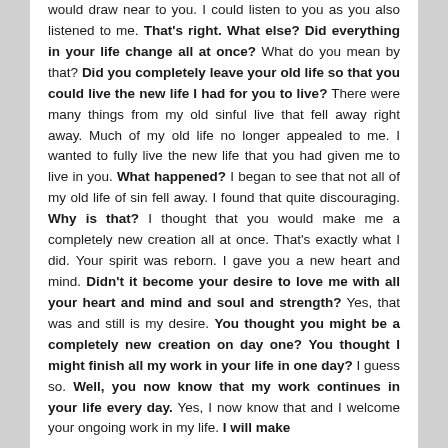would draw near to you. I could listen to you as you also listened to me. That's right. What else? Did everything in your life change all at once? What do you mean by that? Did you completely leave your old life so that you could live the new life I had for you to live? There were many things from my old sinful live that fell away right away. Much of my old life no longer appealed to me. I wanted to fully live the new life that you had given me to live in you. What happened? I began to see that not all of my old life of sin fell away. I found that quite discouraging. Why is that? I thought that you would make me a completely new creation all at once. That's exactly what I did. Your spirit was reborn. I gave you a new heart and mind. Didn't it become your desire to love me with all your heart and mind and soul and strength? Yes, that was and still is my desire. You thought you might be a completely new creation on day one? You thought I might finish all my work in your life in one day? I guess so. Well, you now know that my work continues in your life every day. Yes, I now know that and I welcome your ongoing work in my life. I will make